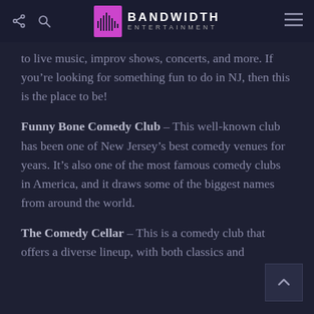BANDWIDTH ENTERTAINMENT
to live music, improv shows, concerts, and more. If you're looking for something fun to do in NJ, then this is the place to be!
Funny Bone Comedy Club – This well-known club has been one of New Jersey's best comedy venues for years. It's also one of the most famous comedy clubs in America, and it draws some of the biggest names from around the world.
The Comedy Cellar – This is a comedy club that offers a diverse lineup, with both classics and